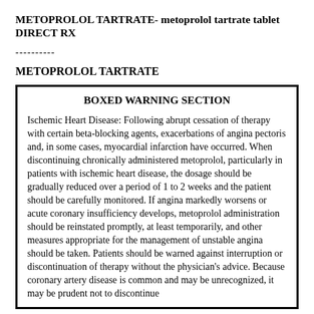METOPROLOL TARTRATE- metoprolol tartrate tablet DIRECT RX
----------
METOPROLOL TARTRATE
BOXED WARNING SECTION

Ischemic Heart Disease: Following abrupt cessation of therapy with certain beta-blocking agents, exacerbations of angina pectoris and, in some cases, myocardial infarction have occurred. When discontinuing chronically administered metoprolol, particularly in patients with ischemic heart disease, the dosage should be gradually reduced over a period of 1 to 2 weeks and the patient should be carefully monitored. If angina markedly worsens or acute coronary insufficiency develops, metoprolol administration should be reinstated promptly, at least temporarily, and other measures appropriate for the management of unstable angina should be taken. Patients should be warned against interruption or discontinuation of therapy without the physician's advice. Because coronary artery disease is common and may be unrecognized, it may be prudent not to discontinue metoprolol therapy even in patients treated only...